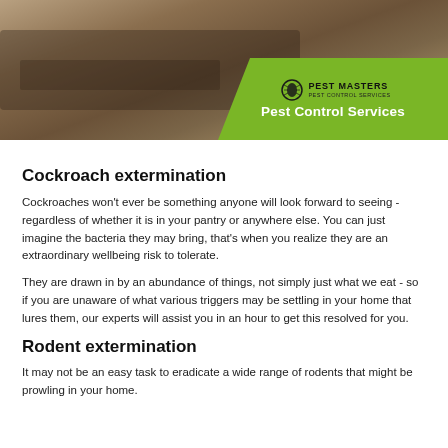[Figure (photo): Banner photo showing pest control equipment (hose/pump) on ground with dirt and leaves, with a person in white gloves visible. Green overlay in bottom-right corner with Pest Masters logo and 'Pest Control Services' text.]
Cockroach extermination
Cockroaches won't ever be something anyone will look forward to seeing - regardless of whether it is in your pantry or anywhere else. You can just imagine the bacteria they may bring, that's when you realize they are an extraordinary wellbeing risk to tolerate.
They are drawn in by an abundance of things, not simply just what we eat - so if you are unaware of what various triggers may be settling in your home that lures them, our experts will assist you in an hour to get this resolved for you.
Rodent extermination
It may not be an easy task to eradicate a wide range of rodents that might be prowling in your home.